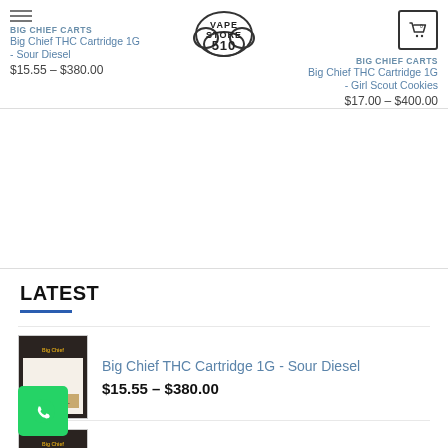VAPE STORE 510
BIG CHIEF CARTS
Big Chief THC Cartridge 1G - Sour Diesel
$15.55 – $380.00
BIG CHIEF CARTS
Big Chief THC Cartridge 1G - Girl Scout Cookies
$17.00 – $400.00
LATEST
Big Chief THC Cartridge 1G - Sour Diesel
$15.55 – $380.00
Big Chief THC Cartridge 1G - Girl Scout Cookies
$17.00 – $400.00
Big Chief THC Cartridge 1G - Blue Dream
$15.00 – $350.00